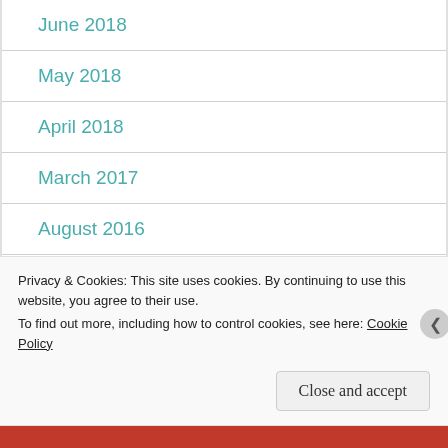June 2018
May 2018
April 2018
March 2017
August 2016
June 2016
August 2015
Privacy & Cookies: This site uses cookies. By continuing to use this website, you agree to their use.
To find out more, including how to control cookies, see here: Cookie Policy
Close and accept